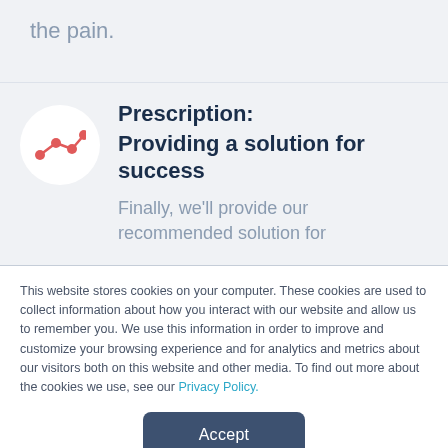the pain.
Prescription:
Providing a solution for success
Finally, we'll provide our recommended solution for
This website stores cookies on your computer. These cookies are used to collect information about how you interact with our website and allow us to remember you. We use this information in order to improve and customize your browsing experience and for analytics and metrics about our visitors both on this website and other media. To find out more about the cookies we use, see our Privacy Policy.
Accept